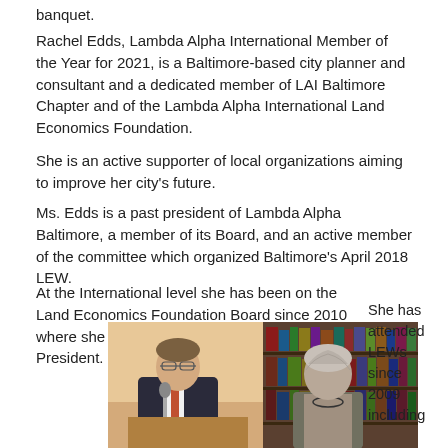banquet.
Rachel Edds, Lambda Alpha International Member of the Year for 2021, is a Baltimore-based city planner and consultant and a dedicated member of LAI Baltimore Chapter and of the Lambda Alpha International Land Economics Foundation.
She is an active supporter of local organizations aiming to improve her city’s future.
Ms. Edds is a past president of Lambda Alpha Baltimore, a member of its Board, and an active member of the committee which organized Baltimore’s April 2018 LEW.
At the International level she has been on the Land Economics Foundation Board since 2010 where she has served both as Treasurer and President.
[Figure (photo): Two people at an event: a man in a suit on the left, and a woman on the right, in front of a bookshelf]
She has attended LEWs since 2009 including